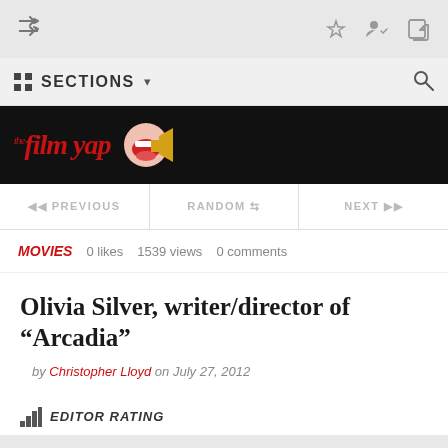SECTIONS
[Figure (logo): The Film Yap logo — red italic text with a megaphone graphic on black background]
PREVIOUS   RANDOM   NEXT
MOVIES   0 likes   1539 views   0 comments
Olivia Silver, writer/director of “Arcadia”
by Christopher Lloyd on July 27, 2012
EDITOR RATING